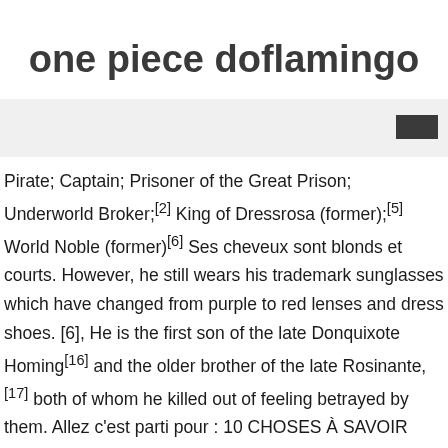one piece doflamingo
Pirate; Captain; Prisoner of the Great Prison; Underworld Broker;[2] King of Dressrosa (former);[5] World Noble (former)[6] Ses cheveux sont blonds et courts. However, he still wears his trademark sunglasses which have changed from purple to red lenses and dress shoes. [6], He is the first son of the late Donquixote Homing[16] and the older brother of the late Rosinante,[17] both of whom he killed out of feeling betrayed by them. Allez c'est parti pour : 10 CHOSES À SAVOIR SUR DOFLAMINGO ! [19] He ruled the country tyrannically until he